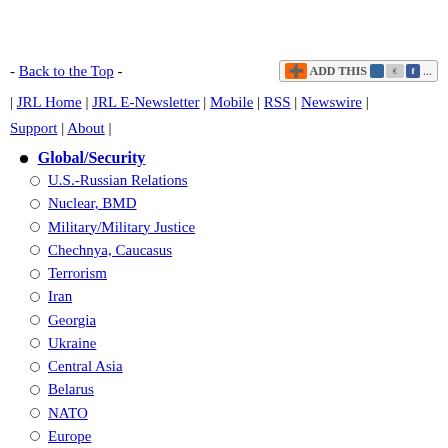- Back to the Top -
| JRL Home | JRL E-Newsletter | Mobile | RSS | Newswire | Support | About |
Global/Security
U.S.-Russian Relations
Nuclear, BMD
Military/Military Justice
Chechnya, Caucasus
Terrorism
Iran
Georgia
Ukraine
Central Asia
Belarus
NATO
Europe
Russia & the West
Foreign Policy, Security...